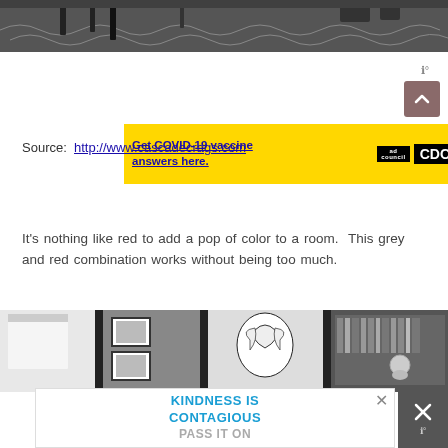[Figure (photo): Top portion of a room interior with furniture on a patterned grey floor, black and white photo, cropped at top]
[Figure (other): Yellow advertisement banner: Get COVID-19 vaccine answers here. with Ad Council and CDC logos and X close button]
Source:  http://www.cascadecrags.com
It's nothing like red to add a pop of color to a room.  This grey and red combination works without being too much.
[Figure (photo): Interior room photo showing dark door frames, framed artwork, a large black and white floral artwork, and a bookcase with chandelier, black and white]
[Figure (other): White advertisement banner at bottom: KINDNESS IS CONTAGIOUS PASS IT ON with X close button]